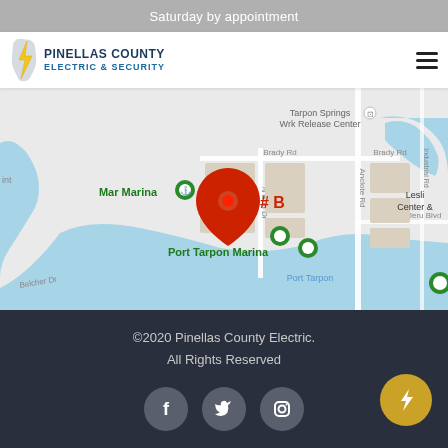Saturday by appointment
[Figure (logo): Pinellas County Electric & Security logo with lightning bolt and text]
[Figure (map): Google Maps screenshot showing location near Port Tarpon Marina, Tarpon Springs area, with red pin marker labeled #B, green marina icons, water bodies, roads including Brady Rd, N Bnd Dr, Anclote Rd, Jeru Blvd, Belcher Dr, and labels for Mar Marina, Port Tarpon Marina, Port Tarpon, Tarpon Springs Wrk Release Center, Leslie Center]
©2020 Pinellas County Electric.
All Rights Reserved